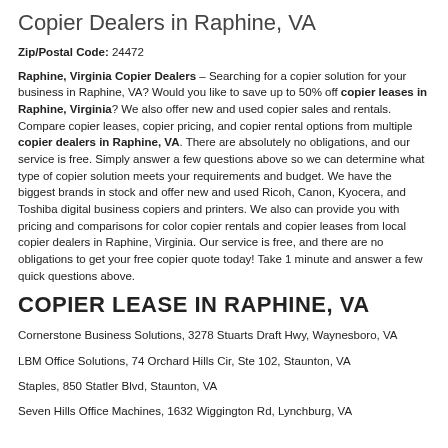Copier Dealers in Raphine, VA
Zip/Postal Code: 24472
Raphine, Virginia Copier Dealers – Searching for a copier solution for your business in Raphine, VA? Would you like to save up to 50% off copier leases in Raphine, Virginia? We also offer new and used copier sales and rentals. Compare copier leases, copier pricing, and copier rental options from multiple copier dealers in Raphine, VA. There are absolutely no obligations, and our service is free. Simply answer a few questions above so we can determine what type of copier solution meets your requirements and budget. We have the biggest brands in stock and offer new and used Ricoh, Canon, Kyocera, and Toshiba digital business copiers and printers. We also can provide you with pricing and comparisons for color copier rentals and copier leases from local copier dealers in Raphine, Virginia. Our service is free, and there are no obligations to get your free copier quote today! Take 1 minute and answer a few quick questions above.
COPIER LEASE IN RAPHINE, VA
Cornerstone Business Solutions, 3278 Stuarts Draft Hwy, Waynesboro, VA
LBM Office Solutions, 74 Orchard Hills Cir, Ste 102, Staunton, VA
Staples, 850 Statler Blvd, Staunton, VA
Seven Hills Office Machines, 1632 Wiggington Rd, Lynchburg, VA